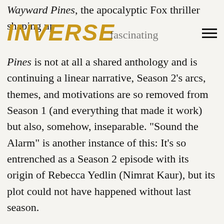Wayward Pines, the apocalyptic Fox thriller shaping up
INVERSE
Pines is not at all a shared anthology and is continuing a linear narrative, Season 2’s arcs, themes, and motivations are so removed from Season 1 (and everything that made it work) but also, somehow, inseparable. “Sound the Alarm” is another instance of this: It’s so entrenched as a Season 2 episode with its origin of Rebecca Yedlin (Nimrat Kaur), but its plot could not have happened without last season.
ADVERTISEMENT